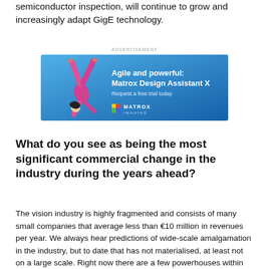semiconductor inspection, will continue to grow and increasingly adapt GigE technology.
[Figure (other): Advertisement banner for Matrox Imaging showing a gymnast doing a one-handed handstand. Text reads: 'Agile and powerful: Matrox Design Assistant X – Request a free trial today' with Matrox Imaging logo.]
What do you see as being the most significant commercial change in the industry during the years ahead?
The vision industry is highly fragmented and consists of many small companies that average less than €10 million in revenues per year. We always hear predictions of wide-scale amalgamation in the industry, but to date that has not materialised, at least not on a large scale. Right now there are a few powerhouses within the industry and a few up-and-comers, such as